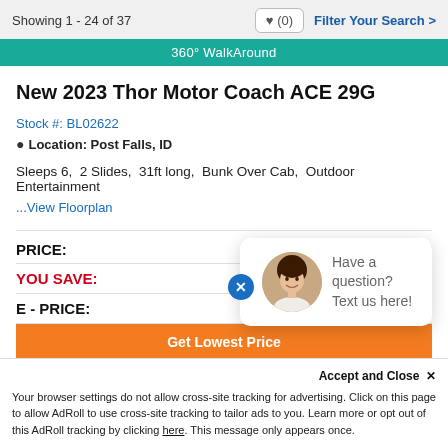Showing 1 - 24 of 37
♥ (0)
Filter Your Search >
360° WalkAround
New 2023 Thor Motor Coach ACE 29G
Stock #: BL02622
Location: Post Falls, ID
Sleeps 6,  2 Slides,  31ft long,  Bunk Over Cab,  Outdoor Entertainment
...View Floorplan
PRICE:
$187,199
YOU SAVE:
E - PRICE:
Have a question? Text us here!
Get Lowest Price
Accept and Close ✕
Your browser settings do not allow cross-site tracking for advertising. Click on this page to allow AdRoll to use cross-site tracking to tailor ads to you. Learn more or opt out of this AdRoll tracking by clicking here. This message only appears once.